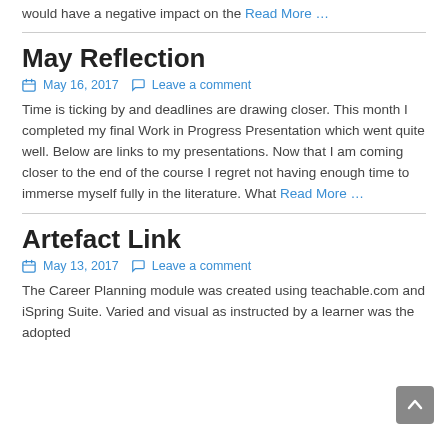would have a negative impact on the Read More …
May Reflection
May 16, 2017   Leave a comment
Time is ticking by and deadlines are drawing closer.  This month I completed my final Work in Progress Presentation which went quite well. Below are links to my presentations. Now that I am coming closer to the end of the course I regret not having enough time to immerse myself fully in the literature.  What Read More …
Artefact Link
May 13, 2017   Leave a comment
The Career Planning module was created using teachable.com and iSpring Suite.  Varied and visual as instructed by a learner was the adopted